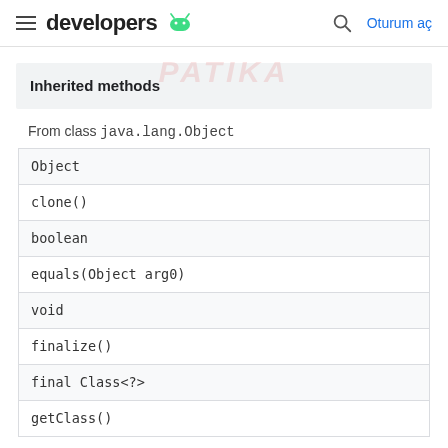developers  Oturum aç
Inherited methods
From class java.lang.Object
| Object |
| clone() |
| boolean |
| equals(Object arg0) |
| void |
| finalize() |
| final Class<?> |
| getClass() |